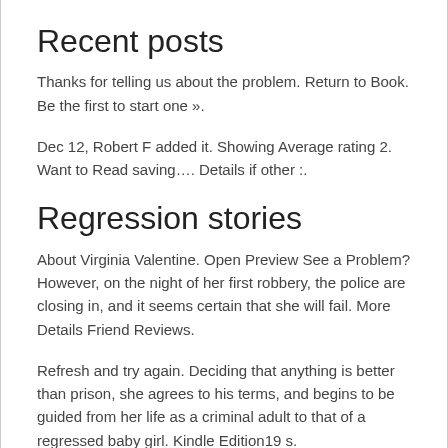Recent posts
Thanks for telling us about the problem. Return to Book. Be the first to start one ».
Dec 12, Robert F added it. Showing Average rating 2. Want to Read saving…. Details if other :.
Regression stories
About Virginia Valentine. Open Preview See a Problem? However, on the night of her first robbery, the police are closing in, and it seems certain that she will fail. More Details Friend Reviews.
Refresh and try again. Deciding that anything is better than prison, she agrees to his terms, and begins to be guided from her life as a criminal adult to that of a regressed baby girl. Kindle Edition19 s.